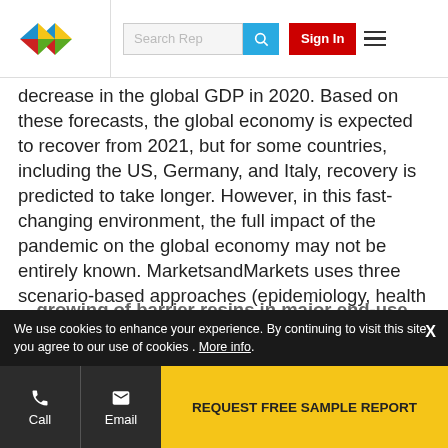MarketsandMarkets logo, Search Rep [search bar], Sign In, hamburger menu
decrease in the global GDP in 2020. Based on these forecasts, the global economy is expected to recover from 2021, but for some countries, including the US, Germany, and Italy, recovery is predicted to take longer. However, in this fast-changing environment, the full impact of the pandemic on the global economy may not be entirely known. MarketsandMarkets uses three scenario-based approaches (epidemiology, health response, and economic response) to assess the economic impact and recovery period at the global level. Countries are likely to have different impacts and recovery periods.
Barrier resins Market Dynamics
…growing of barrier resins in major end-use
We use cookies to enhance your experience. By continuing to visit this site you agree to our use of cookies . More info.
Call | Email | REQUEST FREE SAMPLE REPORT